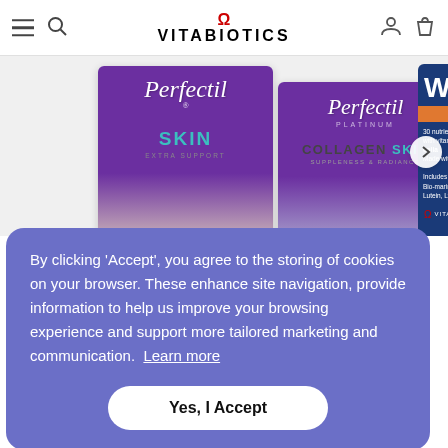VITABIOTICS navigation bar with menu, search, logo, account and cart icons
[Figure (photo): Product carousel showing Perfectil Skin Extra Support, Perfectil Platinum Collagen Skin, and a partially visible third product. A right arrow navigation button is visible.]
By clicking 'Accept', you agree to the storing of cookies on your browser. These enhance site navigation, provide information to help us improve your browsing experience and support more tailored marketing and communication. Learn more
Yes, I Accept